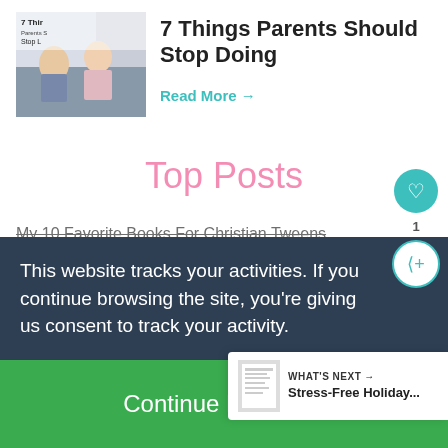[Figure (photo): Thumbnail photo of a child and parent sitting on a couch, with text overlay reading '7 Things Parents Should Stop L...']
7 Things Parents Should Stop Doing
Read More →
Top Posts
My 10 Favorite Books For Christian Tweens
This website tracks your activities. If you continue browsing the site, you're giving us consent to track your activity.
Continue Browsing
WHAT'S NEXT → Stress-Free Holiday...